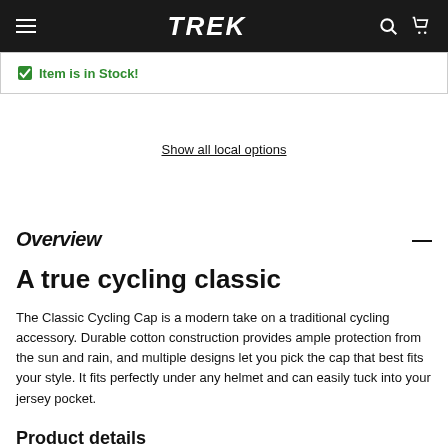TREK
✓ Item is in Stock!
Show all local options
Overview
A true cycling classic
The Classic Cycling Cap is a modern take on a traditional cycling accessory. Durable cotton construction provides ample protection from the sun and rain, and multiple designs let you pick the cap that best fits your style. It fits perfectly under any helmet and can easily tuck into your jersey pocket.
Product details